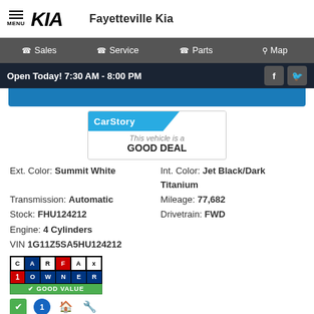MENU  KIA  Fayetteville Kia
Sales  Service  Parts  Map
Open Today! 7:30 AM - 8:00 PM
[Figure (logo): CarStory badge showing 'This vehicle is a GOOD DEAL']
Ext. Color: Summit White
Int. Color: Jet Black/Dark Titanium
Transmission: Automatic
Mileage: 77,682
Stock: FHU124212
Drivetrain: FWD
Engine: 4 Cylinders
VIN 1G11Z5SA5HU124212
[Figure (logo): CARFAX 1 Owner Good Value badge with small icons below]